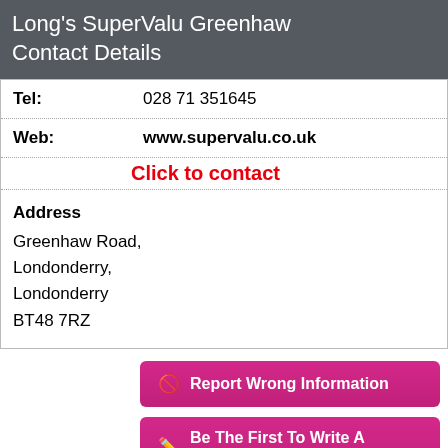Long's SuperValu Greenhaw Contact Details
| Tel: | 028 71 351645 |
| Web: | www.supervalu.co.uk |
|  | Click to contact |
| Address | Greenhaw Road,
Londonderry,
Londonderry
BT48 7RZ |
Report Wrong Information
Be The First To Write A Review
Location Map of Long's SuperValu Greenhaw
Click to view the map location of Long's SuperValu Greenhaw and similar companies